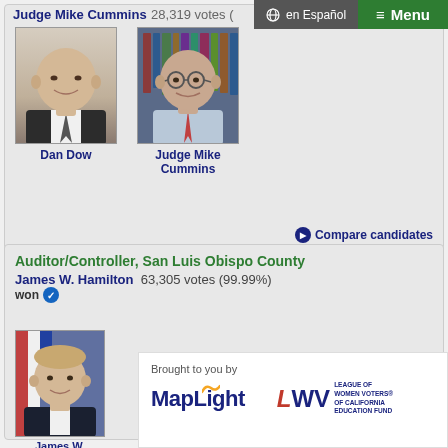Judge Mike Cummins 28,319 votes (…
[Figure (photo): Headshot of Dan Dow]
Dan Dow
[Figure (photo): Headshot of Judge Mike Cummins]
Judge Mike Cummins
Compare candidates
Auditor/Controller, San Luis Obispo County
James W. Hamilton  63,305 votes (99.99%)  won ✓
[Figure (photo): Headshot of James W. Hamilton]
James W. Hamilton
Brought to you by
[Figure (logo): MapLight logo]
[Figure (logo): League of Women Voters of California Education Fund logo]